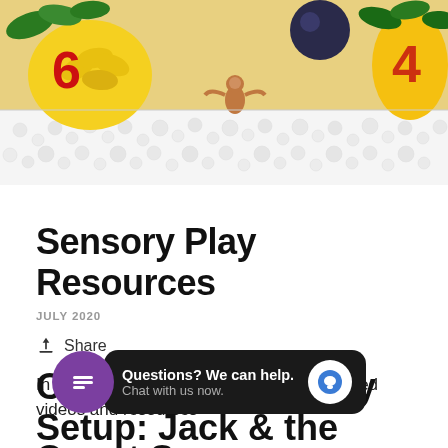[Figure (photo): Colorful sensory play scene with fruit toys, monkey figurine, white beads/balls, and letter decorations on a yellow background]
Sensory Play Resources
JULY 2020
Share
In this page, you will find sensory play related videos and resources
Count Sensory Tray Setup: Jack & the